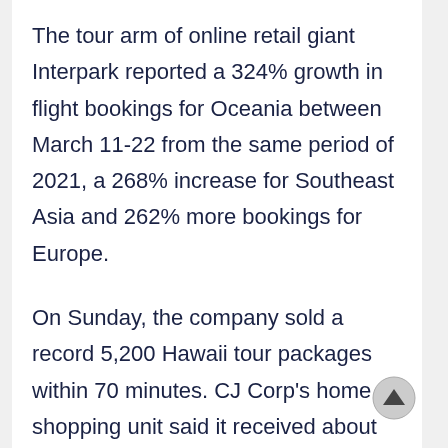The tour arm of online retail giant Interpark reported a 324% growth in flight bookings for Oceania between March 11-22 from the same period of 2021, a 268% increase for Southeast Asia and 262% more bookings for Europe.
On Sunday, the company sold a record 5,200 Hawaii tour packages within 70 minutes. CJ Corp's home shopping unit said it received about 2,800 orders for a Spain and Italy trip in one hour on Sunday, totaling